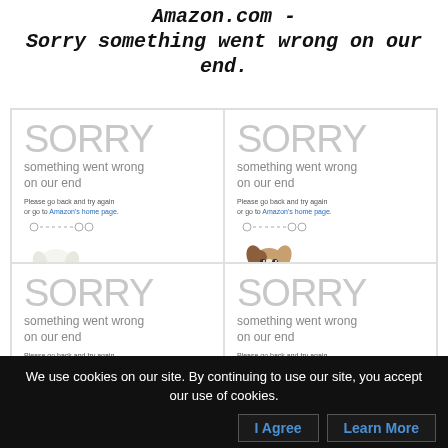Amazon.com - Sorry something went wrong on our end.
[Figure (screenshot): A 2x2 grid of Amazon.com error pages, each showing 'SORRY something went wrong on our end' with dog mascots named Clancy and Kodak.]
We use cookies on our site. By continuing to use our site, you accept our use of cookies.